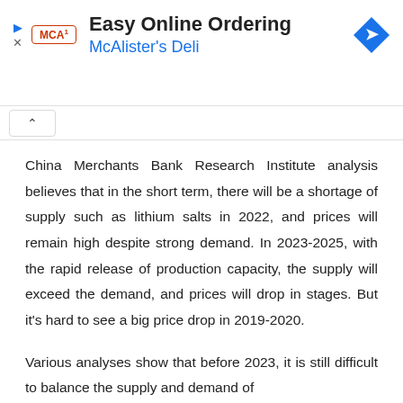[Figure (infographic): Advertisement banner for McAlister's Deli featuring logo, 'Easy Online Ordering' title, blue subtitle, and blue navigation arrow icon]
China Merchants Bank Research Institute analysis believes that in the short term, there will be a shortage of supply such as lithium salts in 2022, and prices will remain high despite strong demand. In 2023-2025, with the rapid release of production capacity, the supply will exceed the demand, and prices will drop in stages. But it's hard to see a big price drop in 2019-2020.
Various analyses show that before 2023, it is still difficult to balance the supply and demand of